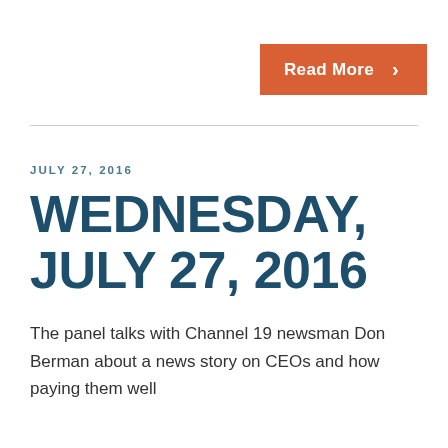[Figure (other): Orange 'Read More' button with right-pointing chevron arrow]
JULY 27, 2016
WEDNESDAY, JULY 27, 2016
The panel talks with Channel 19 newsman Don Berman about a news story on CEOs and how paying them well